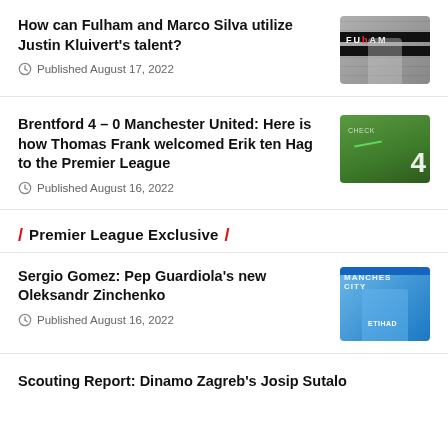How can Fulham and Marco Silva utilize Justin Kluivert's talent?
Published August 17, 2022
[Figure (photo): Fulham player in white jersey with W88 sponsor]
Brentford 4 – 0 Manchester United: Here is how Thomas Frank welcomed Erik ten Hag to the Premier League
Published August 16, 2022
[Figure (photo): Football match aerial screenshot with number 4 overlay]
/ Premier League Exclusive /
Sergio Gomez: Pep Guardiola's new Oleksandr Zinchenko
Published August 16, 2022
[Figure (photo): Manchester City player in blue ETIHAD jersey celebrating]
Scouting Report: Dinamo Zagreb's Josip Sutalo